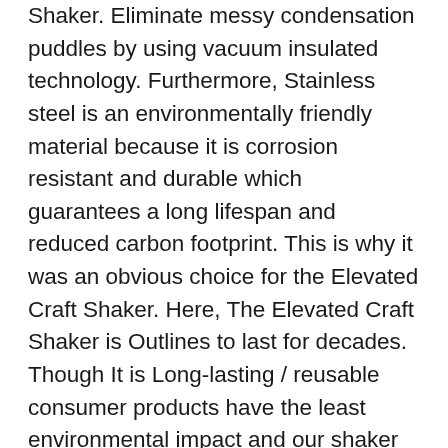Shaker. Eliminate messy condensation puddles by using vacuum insulated technology. Furthermore, Stainless steel is an environmentally friendly material because it is corrosion resistant and durable which guarantees a long lifespan and reduced carbon footprint. This is why it was an obvious choice for the Elevated Craft Shaker. Here, The Elevated Craft Shaker is Outlines to last for decades. Though It is Long-lasting / reusable consumer products have the least environmental impact and our shaker is no different. Moreover, Elevated Craft Shaker is constructed from high-quality stainless steel and, the silicone gaskets are replaceable if they ever wear out.
Features: